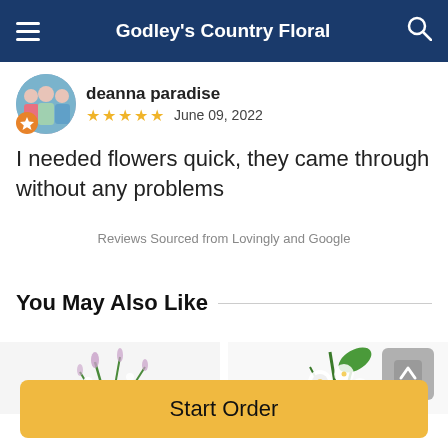Godley's Country Floral
deanna paradise
★★★★★  June 09, 2022
I needed flowers quick, they came through without any problems
Reviews Sourced from Lovingly and Google
You May Also Like
[Figure (photo): Two flower arrangement photos partially visible at the bottom of the page]
Start Order